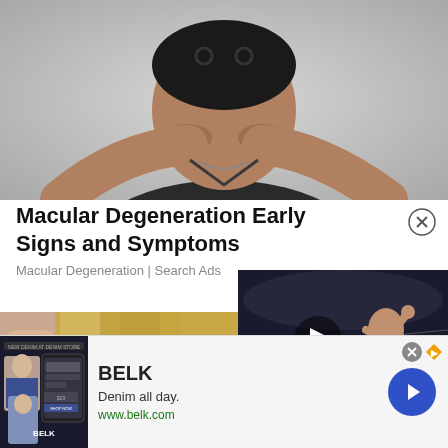[Figure (photo): Man in dark shirt rubbing his eyes with both fists, sunglasses on top of his head, gray background]
Macular Degeneration Early Signs and Symptoms
Macular Degeneration | Search Ads
[Figure (photo): Close-up of a finger and blonde hair]
[Figure (photo): MMA fighter in a cage with U.S. Air Force branding visible, video play button overlay]
[Figure (other): BELK advertisement banner showing denim clothing images with text: BELK, Denim all day., www.belk.com and a blue arrow button]